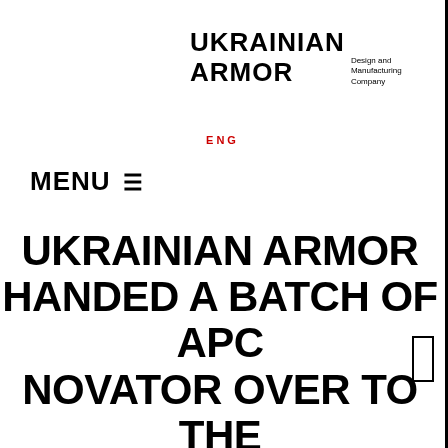UKRAINIAN ARMOR Design and Manufacturing Company
ENG
MENU ☰
UKRAINIAN ARMOR HANDED A BATCH OF APC NOVATOR OVER TO THE NATIONAL GUARD OF UKRAINE